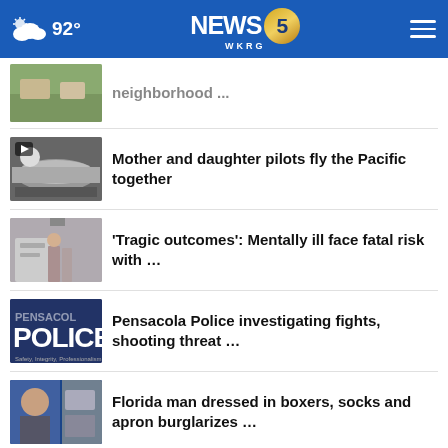92° NEWS 5 WKRG
neighborhood ...
Mother and daughter pilots fly the Pacific together
'Tragic outcomes': Mentally ill face fatal risk with ...
Pensacola Police investigating fights, shooting threat ...
Florida man dressed in boxers, socks and apron burglarizes ...
More Stories ›